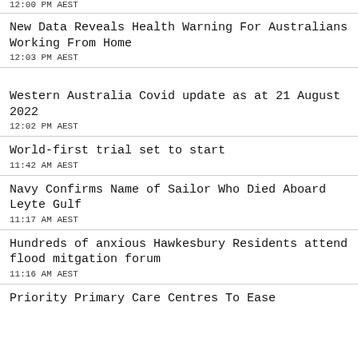12:00 PM AEST
New Data Reveals Health Warning For Australians Working From Home
12:03 PM AEST
Western Australia Covid update as at 21 August 2022
12:02 PM AEST
World-first trial set to start
11:42 AM AEST
Navy Confirms Name of Sailor Who Died Aboard Leyte Gulf
11:17 AM AEST
Hundreds of anxious Hawkesbury Residents attend flood mitgation forum
11:16 AM AEST
Priority Primary Care Centres To Ease